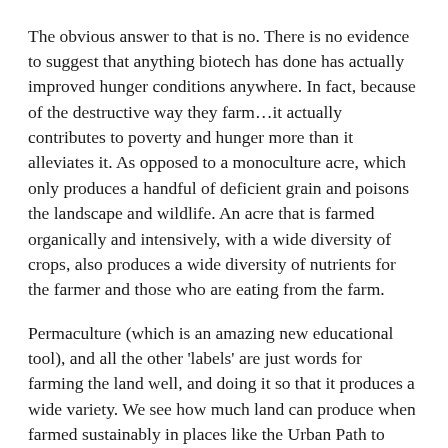The obvious answer to that is no. There is no evidence to suggest that anything biotech has done has actually improved hunger conditions anywhere. In fact, because of the destructive way they farm…it actually contributes to poverty and hunger more than it alleviates it. As opposed to a monoculture acre, which only produces a handful of deficient grain and poisons the landscape and wildlife. An acre that is farmed organically and intensively, with a wide diversity of crops, also produces a wide diversity of nutrients for the farmer and those who are eating from the farm.
Permaculture (which is an amazing new educational tool), and all the other 'labels' are just words for farming the land well, and doing it so that it produces a wide variety. We see how much land can produce when farmed sustainably in places like the Urban Path to Freedom Homestead in Pasadena, CA…or on a larger scale Veda La Palma in Spain and what it is